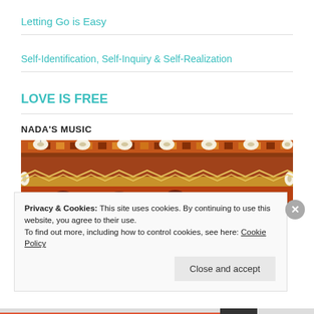Letting Go is Easy
Self-Identification, Self-Inquiry & Self-Realization
LOVE IS FREE
NADA'S MUSIC
[Figure (photo): Decorative woven textile with cowrie shells and geometric patterns in red, orange, and brown colors.]
Privacy & Cookies: This site uses cookies. By continuing to use this website, you agree to their use. To find out more, including how to control cookies, see here: Cookie Policy
Close and accept